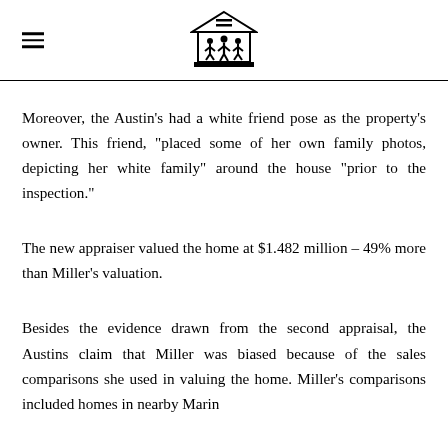[Navigation menu icon] [Fair housing logo]
Moreover, the Austin’s had a white friend pose as the property’s owner. This friend, “placed some of her own family photos, depicting her white family” around the house “prior to the inspection.”
The new appraiser valued the home at $1.482 million – 49% more than Miller’s valuation.
Besides the evidence drawn from the second appraisal, the Austins claim that Miller was biased because of the sales comparisons she used in valuing the home. Miller’s comparisons included homes in nearby Marin